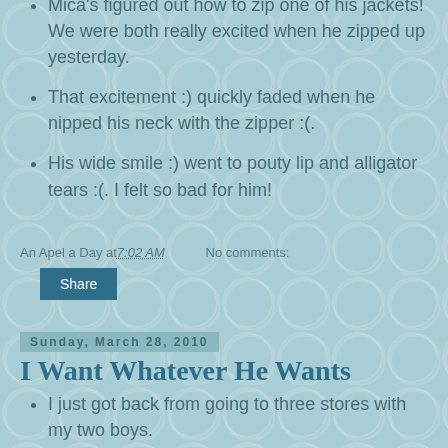Mica's figured out how to zip one of his jackets! We were both really excited when he zipped up yesterday.
That excitement :) quickly faded when he nipped his neck with the zipper :(.
His wide smile :) went to pouty lip and alligator tears :(. I felt so bad for him!
An Apel a Day at 7:02 AM   No comments:
Share
Sunday, March 28, 2010
I Want Whatever He Wants
I just got back from going to three stores with my two boys.
They were pretty good overall!
Isaak is in this new stage of, "I want whatever he